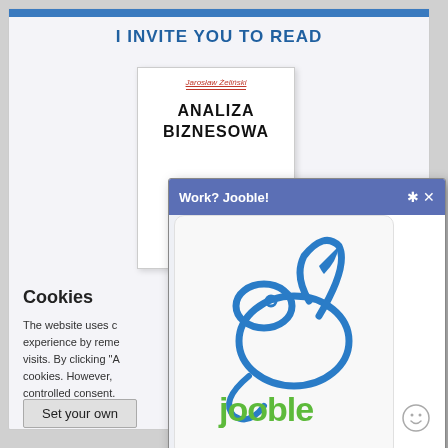I INVITE YOU TO READ
[Figure (screenshot): Book cover thumbnail showing author 'Jarosław Żeliński' and title 'ANALIZA BIZNESOWA']
Cookies
The website uses c... experience by reme... visits. By clicking "A... cookies. However, ... controlled consent.
[Figure (screenshot): Jooble popup advertisement with header 'Work? Jooble!' showing the Jooble logo (blue rabbit/chameleon icon with 'jooble' in green text)]
Set your own